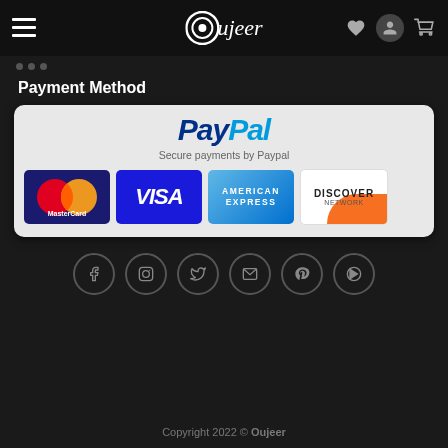Oujeer
[Figure (screenshot): PayPal payment method section showing PayPal logo, tagline 'Secure payments by Paypal', and logos for MasterCard, VISA, American Express, and Discover Network cards]
Payment Method
[Figure (infographic): Social media icons row: Facebook, Instagram, Twitter, Email, Pinterest, YouTube]
Copyright 2022 © Oujeer